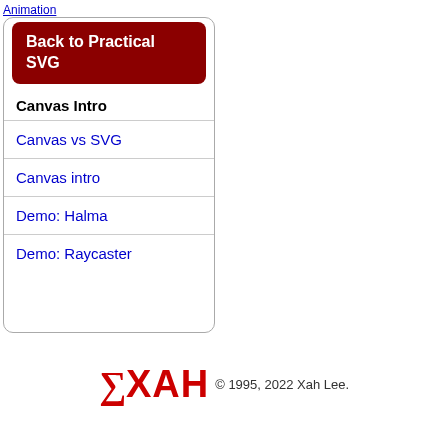Animation
Back to Practical SVG
Canvas Intro
Canvas vs SVG
Canvas intro
Demo: Halma
Demo: Raycaster
∑XAH © 1995, 2022 Xah Lee.